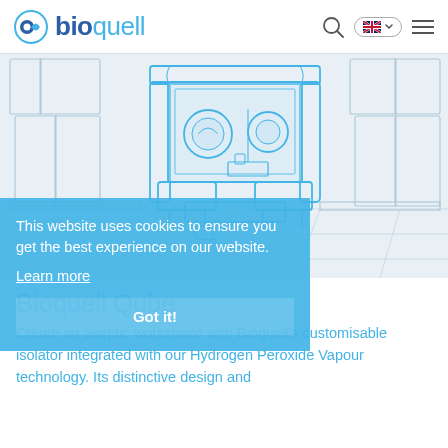bioquell
[Figure (illustration): Line drawing illustration of a Bioquell Qube isolator unit in a laboratory setting, drawn in blue outline on a light grey/blue background. The isolator has circular ports, a main chamber, and supporting base units.]
This website uses cookies to ensure you get the best experience on our website.
Learn more
Got it!
Bioquell Qube
Create an aseptic workspace with Bioquell's customisable isolator integrated with our Hydrogen Peroxide Vapour technology. Its distinctive design and